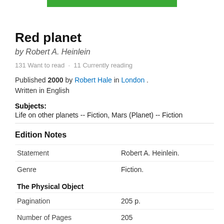[Figure (other): Green decorative bar at top of page]
Red planet
by Robert A. Heinlein
131 Want to read · 11 Currently reading
Published 2000 by Robert Hale in London . Written in English
Subjects:
Life on other planets -- Fiction, Mars (Planet) -- Fiction
Edition Notes
|  |  |
| --- | --- |
| Statement | Robert A. Heinlein. |
| Genre | Fiction. |
| The Physical Object |  |
| Pagination | 205 p. |
| Number of Pages | 205 |
| ID Numbers |  |